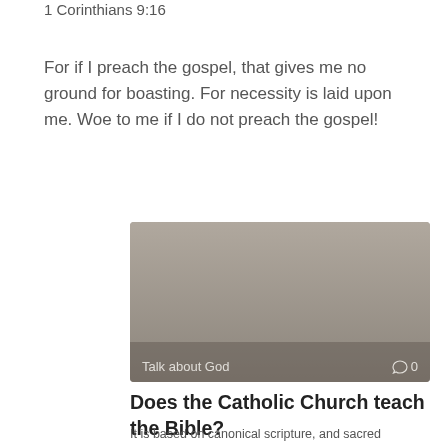1 Corinthians 9:16
For if I preach the gospel, that gives me no ground for boasting. For necessity is laid upon me. Woe to me if I do not preach the gospel!
[Figure (photo): Gray placeholder image with 'Talk about God' label and comment icon showing 0 comments in the bottom bar]
Does the Catholic Church teach the Bible?
It is based on canonical scripture, and sacred tradition, as interpreted authoritatively by the